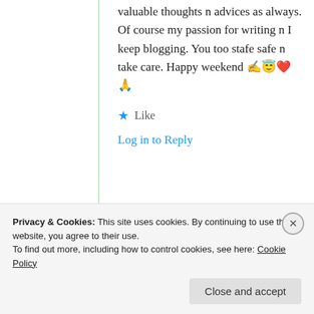valuable thoughts n advices as always. Of course my passion for writing n I keep blogging. You too stafe safe n take care. Happy weekend ✍️😇❤️🙏
★ Like
Log in to Reply
Jas krish
26th Jan 2021
Privacy & Cookies: This site uses cookies. By continuing to use this website, you agree to their use.
To find out more, including how to control cookies, see here: Cookie Policy